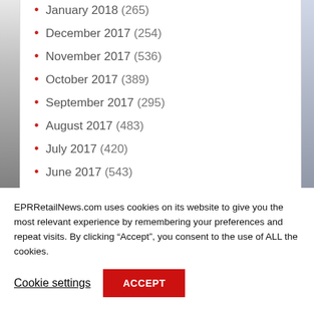January 2018 (265)
December 2017 (254)
November 2017 (536)
October 2017 (389)
September 2017 (295)
August 2017 (483)
July 2017 (420)
June 2017 (543)
EPRRetailNews.com uses cookies on its website to give you the most relevant experience by remembering your preferences and repeat visits. By clicking “Accept”, you consent to the use of ALL the cookies.
Cookie settings
ACCEPT